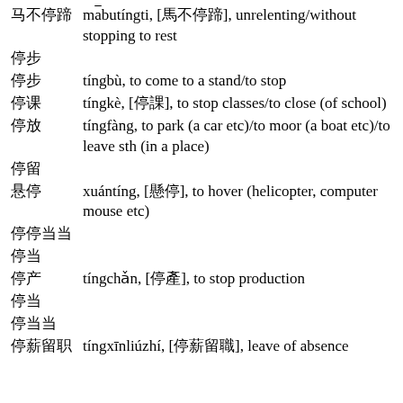马不停蹄  mābutíngti, [馬不停蹄], unrelenting/without stopping to rest
停步
停步  tíngbù, to come to a stand/to stop
停课  tíngkè, [停課], to stop classes/to close (of school)
停放  tíngfàng, to park (a car etc)/to moor (a boat etc)/to leave sth (in a place)
停留
悬停  xuántíng, [懸停], to hover (helicopter, computer mouse etc)
停停当当
停当
停产  tíngchǎn, [停產], to stop production
停当
停当当
停薪留职  tíngxīnliúzhí, [停薪留職], leave of absence